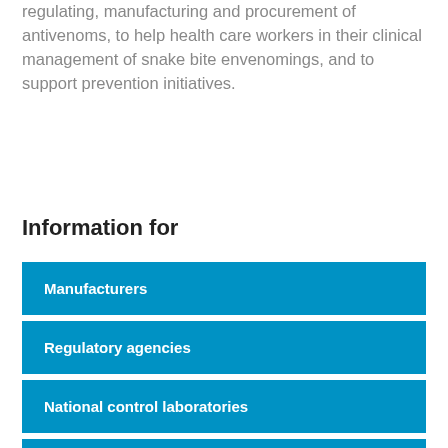regulating, manufacturing and procurement of antivenoms, to help health care workers in their clinical management of snake bite envenomings, and to support prevention initiatives.
Information for
Manufacturers
Regulatory agencies
National control laboratories
Procurement agencies